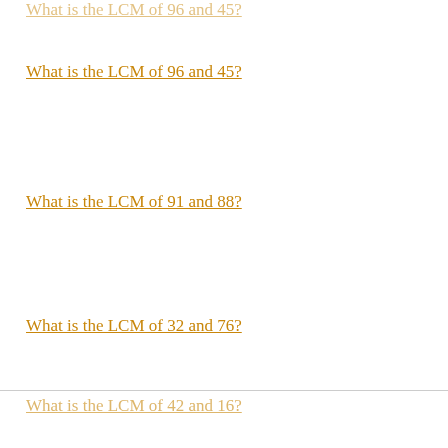What is the LCM of 96 and 45?
What is the LCM of 91 and 88?
What is the LCM of 32 and 76?
What is the LCM of 88 and 15?
What is the LCM of 34 and 41?
What is the LCM of 90 and 17?
What is the LCM of 73 and 49?
What is the LCM of 42 and 16?